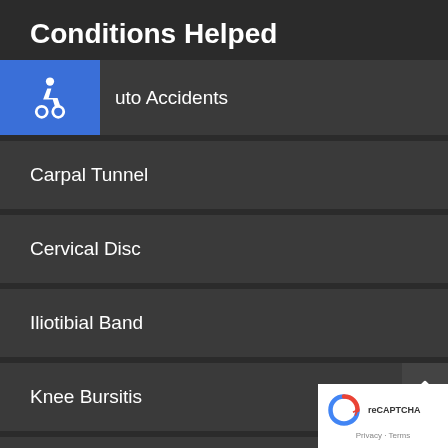Conditions Helped
Auto Accidents
Carpal Tunnel
Cervical Disc
Iliotibial Band
Knee Bursitis
Lumbar Disc
Migraines
[Figure (logo): reCAPTCHA badge with Privacy and Terms links]